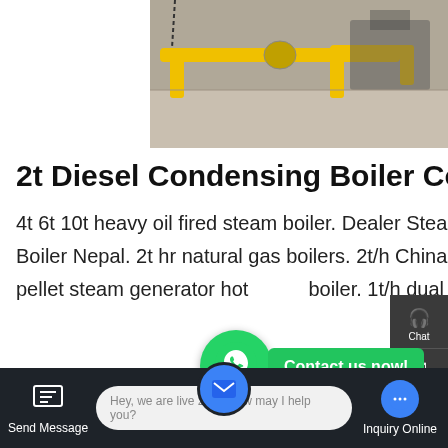[Figure (photo): Industrial yellow piping and equipment in a boiler/mechanical plant room]
2t Diesel Condensing Boiler Commercial For Sale Uzbekistan
4t 6t 10t heavy oil fired steam boiler. Dealer Steam Boiler 10t Uzbekist. Price Industrial 4T Natural Gas Fired Boiler Nepal. 2t hr natural gas boilers. 2t/h China Coal Fired Boiler for coating plant 2t/h palm shell wood pellet steam generator hot water boiler. 1t/h dual fuel steam boiler Ghana Steam Boilers 1t 2t ...t coal steam...
Hey, we are live 24/7. How may I help you?
Send Message
Inquiry Online